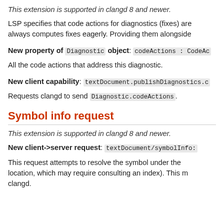This extension is supported in clangd 8 and newer.
LSP specifies that code actions for diagnostics (fixes) are always computes fixes eagerly. Providing them alongside
New property of Diagnostic object: codeActions : CodeAc
All the code actions that address this diagnostic.
New client capability: textDocument.publishDiagnostics.c
Requests clangd to send Diagnostic.codeActions.
Symbol info request
This extension is supported in clangd 8 and newer.
New client->server request: textDocument/symbolInfo:
This request attempts to resolve the symbol under the location, which may require consulting an index). This m clangd.